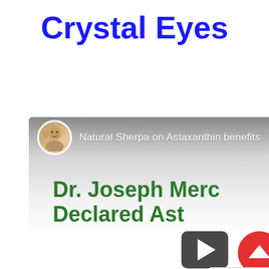Crystal Eyes
[Figure (screenshot): Screenshot of a YouTube video thumbnail showing 'Natural Sherpa on Astaxanthin benefits' channel with avatar, and text 'Dr. Joseph Merc... Declared Ast...' in green bold font, with a play button overlay and a red scroll-up button. A TrustedSite badge is visible in the bottom right corner.]